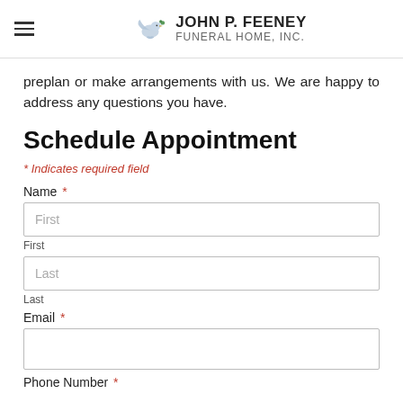JOHN P. FEENEY FUNERAL HOME, INC.
preplan or make arrangements with us. We are happy to address any questions you have.
Schedule Appointment
* Indicates required field
Name *
First
First
Last
Last
Email *
Phone Number *